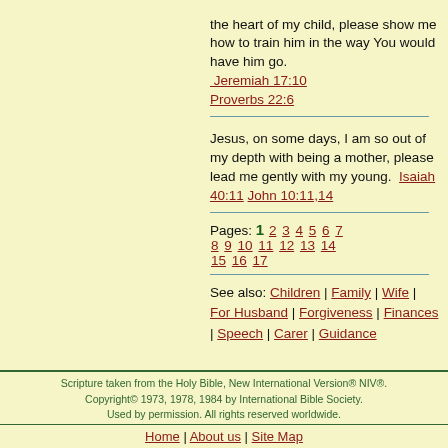the heart of my child, please show me how to train him in the way You would have him go. Jeremiah 17:10 Proverbs 22:6
Jesus, on some days, I am so out of my depth with being a mother, please lead me gently with my young. Isaiah 40:11 John 10:11,14
Pages: 1 2 3 4 5 6 7 8 9 10 11 12 13 14 15 16 17
See also: Children | Family | Wife | For Husband | Forgiveness | Finances | Speech | Carer | Guidance
Scripture taken from the Holy Bible, New International Version® NIV®. Copyright© 1973, 1978, 1984 by International Bible Society. Used by permission. All rights reserved worldwide.
Home | About us | Site Map